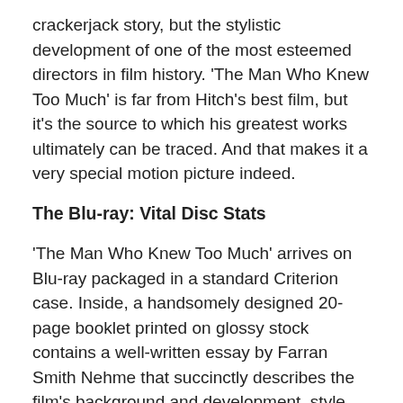crackerjack story, but the stylistic development of one of the most esteemed directors in film history. 'The Man Who Knew Too Much' is far from Hitch's best film, but it's the source to which his greatest works ultimately can be traced. And that makes it a very special motion picture indeed.
The Blu-ray: Vital Disc Stats
'The Man Who Knew Too Much' arrives on Blu-ray packaged in a standard Criterion case. Inside, a handsomely designed 20-page booklet printed on glossy stock contains a well-written essay by Farran Smith Nehme that succinctly describes the film's background and development, style and influences, casting and plot. A cast and crew listing, as well as notes about the movie's transfers, are also included